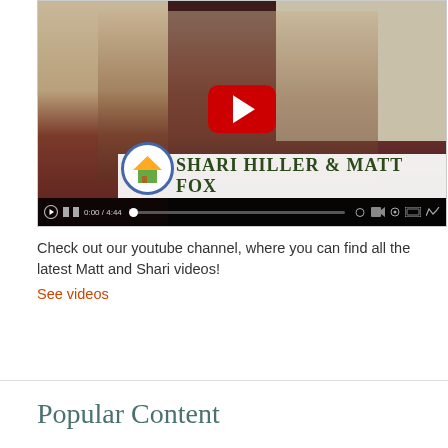[Figure (screenshot): YouTube video thumbnail showing two people (Shari Hiller and Matt Fox) in a room setting, with a red YouTube play button overlay. A banner at the bottom shows 'SHARI HILLER & MATT FOX' with a house logo. Video player controls are visible at the bottom of the frame.]
Check out our youtube channel, where you can find all the latest Matt and Shari videos!
See videos
Popular Content